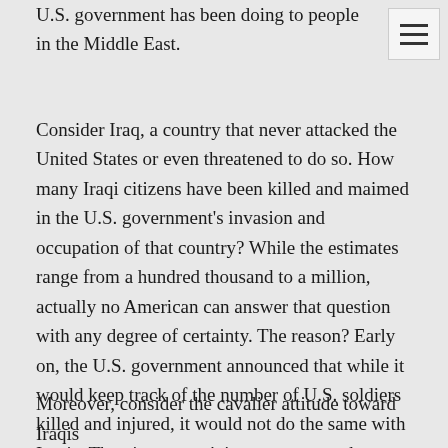U.S. government has been doing to people in the Middle East.
Consider Iraq, a country that never attacked the United States or even threatened to do so. How many Iraqi citizens have been killed and maimed in the U.S. government’s invasion and occupation of that country? While the estimates range from a hundred thousand to a million, actually no American can answer that question with any degree of certainty. The reason? Early on, the U.S. government announced that while it would keep track of the number of U.S. soldiers killed and injured, it would not do the same with Iraqis. They just weren’t important enough.
Moreover, consider the cavalier attitude toward Iraqis